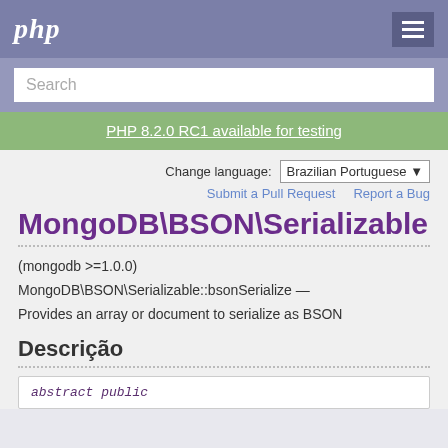php
Search
PHP 8.2.0 RC1 available for testing
Change language: Brazilian Portuguese
Submit a Pull Request   Report a Bug
MongoDB\BSON\Serializable::b
(mongodb >=1.0.0)
MongoDB\BSON\Serializable::bsonSerialize — Provides an array or document to serialize as BSON
Descrição
abstract public